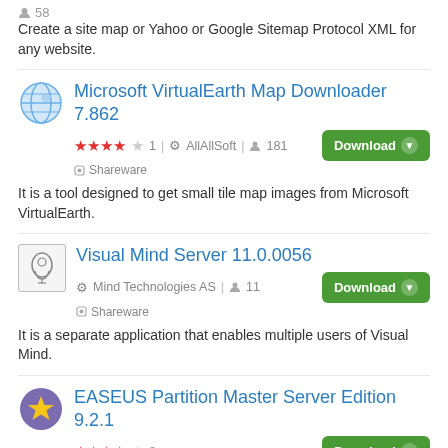58
Create a site map or Yahoo or Google Sitemap Protocol XML for any website.
Microsoft VirtualEarth Map Downloader 7.862
★★★★☆ 1  AllAllSoft  181  Shareware
It is a tool designed to get small tile map images from Microsoft VirtualEarth.
Visual Mind Server 11.0.0056
Mind Technologies AS  11  Shareware
It is a separate application that enables multiple users of Visual Mind.
EASEUS Partition Master Server Edition 9.2.1
★★★★☆ 8